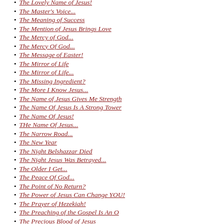The Lovely Name of Jesus!
The Master's Voice...
The Meaning of Success
The Mention of Jesus Brings Love
The Mercy of God...
The Mercy Of God...
The Message of Easter!
The Mirror of Life
The Mirror of Life...
The Missing Ingredient?
The More I Know Jesus...
The Name of Jesus Gives Me Strength
The Name Of Jesus Is A Strong Tower
The Name Of Jesus!
THe Name Of Jesus...
The Narrow Road...
The New Year
The Night Belshazzar Died
The Night Jesus Was Betrayed...
The Older I Get...
The Peace Of God...
The Point of No Return?
The Power of Jesus Can Change YOU!
The Prayer of Hezekiah!
The Preaching of the Gospel Is An O
The Precious Blood of Jesus
The Precious Blood Of Jesus...
The Precious Name of Jesus
The Presence Of Jesus...
The Presence of the Lord Has Refres